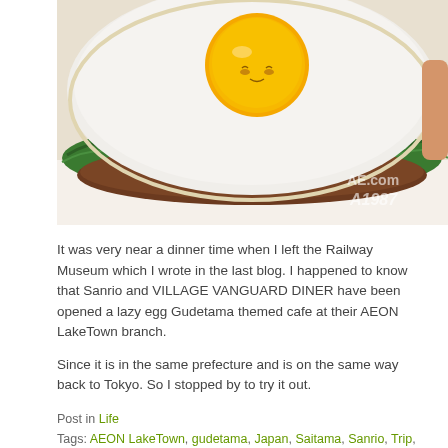[Figure (photo): Close-up photo of a burger with a fried egg on top (Gudetama-styled with a face drawn on the yolk), green lettuce, and a meat patty on a white paper wrapper. Watermark text 'AE.com A1987' visible on the right side of the image.]
It was very near a dinner time when I left the Railway Museum which I wrote in the last blog. I happened to know that Sanrio and VILLAGE VANGUARD DINER have been opened a lazy egg Gudetama themed cafe at their AEON LakeTown branch.
Since it is in the same prefecture and is on the same way back to Tokyo. So I stopped by to try it out.
Continue reading →
Post in Life
Tags: AEON LakeTown, gudetama, Japan, Saitama, Sanrio, Trip,